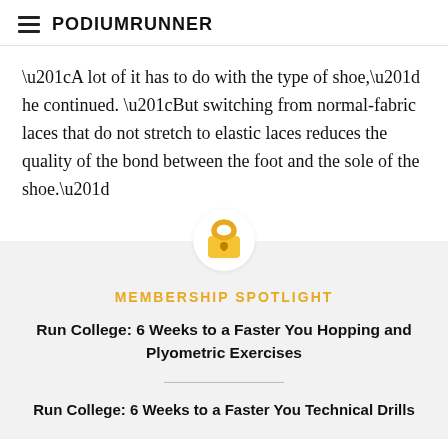PodiumRunner
“A lot of it has to do with the type of shoe,” he continued. “But switching from normal-fabric laces that do not stretch to elastic laces reduces the quality of the bond between the foot and the sole of the shoe.”
[Figure (illustration): Gold padlock icon centered above a light gray membership spotlight box]
MEMBERSHIP SPOTLIGHT
Run College: 6 Weeks to a Faster You Hopping and Plyometric Exercises
Run College: 6 Weeks to a Faster You Technical Drills